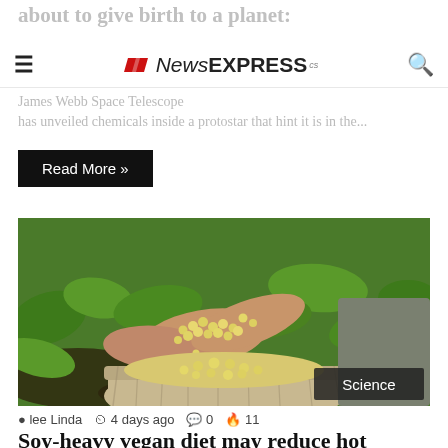about to give birth to a planet:
NewsEXPRESS
James Webb Space Telescope has unveiled chemicals inside a protostar that hint it is in the...
Read More »
[Figure (photo): Person holding soybeans over a burlap sack in a field, with a 'Science' badge overlay]
lee Linda   4 days ago   0   11
Soy-heavy vegan diet may reduce hot